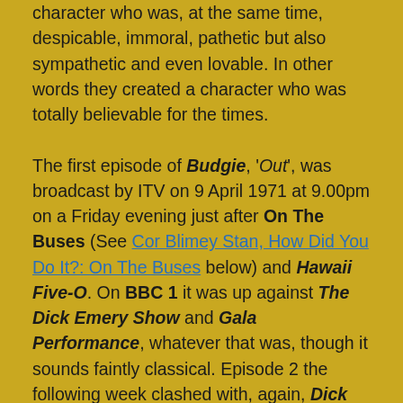character who was, at the same time, despicable, immoral, pathetic but also sympathetic and even lovable. In other words they created a character who was totally believable for the times.

The first episode of Budgie, 'Out', was broadcast by ITV on 9 April 1971 at 9.00pm on a Friday evening just after On The Buses (See Cor Blimey Stan, How Did You Do It?: On The Buses below) and Hawaii Five-O. On BBC 1 it was up against The Dick Emery Show and Gala Performance, whatever that was, though it sounds faintly classical. Episode 2 the following week clashed with, again, Dick Emery and then Miss England 1971! There was